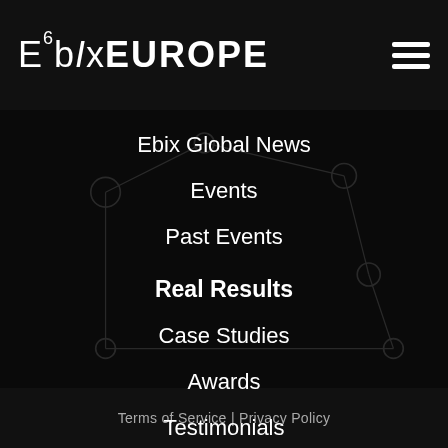Ebix Europe
Ebix Global News
Events
Past Events
Real Results
Case Studies
Awards
Testimonials
Terms of Service | Privacy Policy